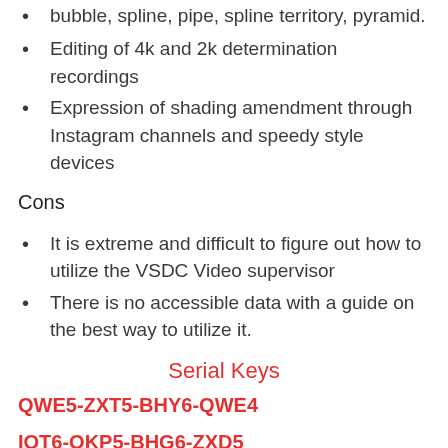bubble, spline, pipe, spline territory, pyramid.
Editing of 4k and 2k determination recordings
Expression of shading amendment through Instagram channels and speedy style devices
Cons
It is extreme and difficult to figure out how to utilize the VSDC Video supervisor
There is no accessible data with a guide on the best way to utilize it.
Serial Keys
QWE5-ZXT5-BHY6-QWE4
IOT6-OKP5-BHG6-ZXD5